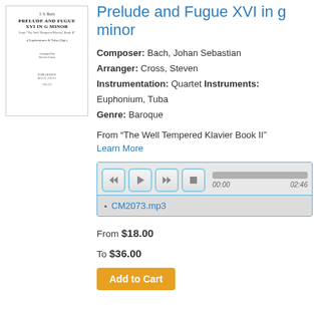[Figure (illustration): Sheet music cover for Prelude and Fugue XVI in G Minor by J.S. Bach, arranged by Steven Cross, published by Cimarron Music Press]
Prelude and Fugue XVI in g minor
Composer: Bach, Johan Sebastian
Arranger: Cross, Steven
Instrumentation: Quartet Instruments: Euphonium, Tuba
Genre: Baroque
From “The Well Tempered Klavier Book II”
Learn More
[Figure (screenshot): Audio player with rewind, play, fast-forward, stop buttons and a progress bar showing 00:00 to 02:46. Playlist shows CM2073.mp3]
From $18.00
To $36.00
Add to Cart